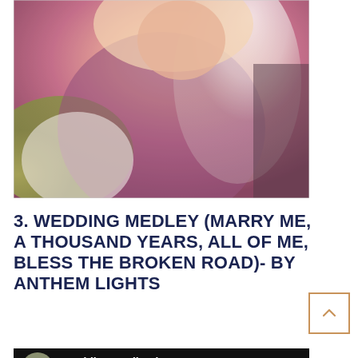[Figure (photo): Close-up blurred photo of a couple embracing or kissing at a wedding, with warm pink/purple tones, green background blur, white clothing visible]
3. WEDDING MEDLEY (MARRY ME, A THOUSAND YEARS, ALL OF ME, BLESS THE BROKEN ROAD)- BY ANTHEM LIGHTS
[Figure (screenshot): Screenshot of a music video or app showing 'Wedding Medley (M...' with a group band thumbnail photo and three-dot menu on a dark black background]